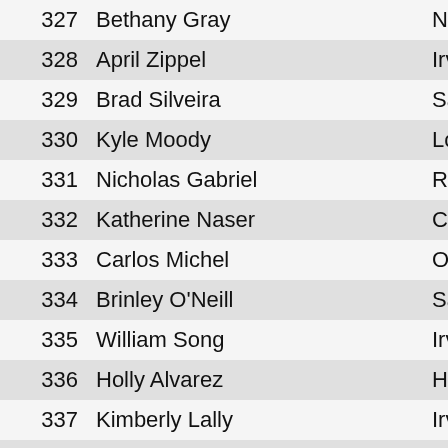| # | Name | Location |
| --- | --- | --- |
| 327 | Bethany Gray | Newport Coa... |
| 328 | April Zippel | Irvine CA |
| 329 | Brad Silveira | Santa Ana CA |
| 330 | Kyle Moody | Long Beach C... |
| 331 | Nicholas Gabriel | Rancho Santa... |
| 332 | Katherine Naser | Costa Mesa C... |
| 333 | Carlos Michel | Orange CA |
| 334 | Brinley O'Neill | Santa Ana CA |
| 335 | William Song | Irvine CA |
| 336 | Holly Alvarez | Huntington Be... |
| 337 | Kimberly Lally | Irvine CA |
| 338 | Martina Mason | Irvine CA |
| 339 | Michelle Morgan | Long Beach C... |
| 340 | Kazumi Konishi | Aliso Viejo CA |
| 341 | Gregory Blevins | Irvine CA |
| 342 | Rob Kobrine | Irvine CA |
| 343 | Kelsie Kan | Newport Bea... |